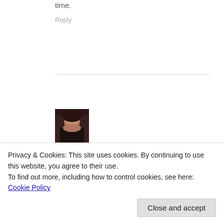time.
Reply
[Figure (photo): Avatar/profile photo of a woman with dark hair]
notesfromrumbleycottage · June 12, 2013
Privacy & Cookies: This site uses cookies. By continuing to use this website, you agree to their use.
To find out more, including how to control cookies, see here: Cookie Policy
Close and accept